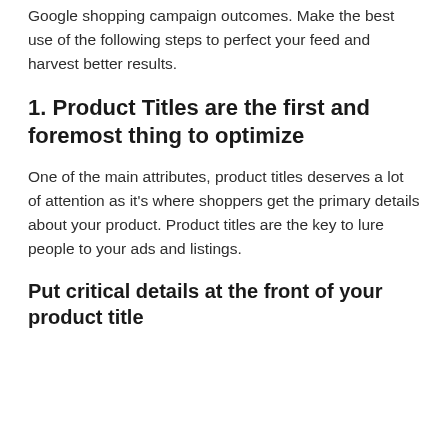Google shopping campaign outcomes. Make the best use of the following steps to perfect your feed and harvest better results.
1. Product Titles are the first and foremost thing to optimize
One of the main attributes, product titles deserves a lot of attention as it's where shoppers get the primary details about your product. Product titles are the key to lure people to your ads and listings.
Put critical details at the front of your product title